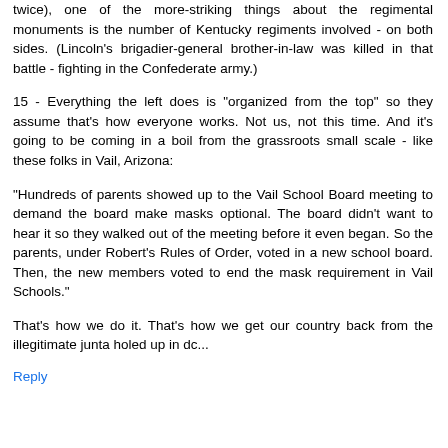twice), one of the more-striking things about the regimental monuments is the number of Kentucky regiments involved - on both sides. (Lincoln's brigadier-general brother-in-law was killed in that battle - fighting in the Confederate army.)
15 - Everything the left does is "organized from the top" so they assume that's how everyone works. Not us, not this time. And it's going to be coming in a boil from the grassroots small scale - like these folks in Vail, Arizona:
"Hundreds of parents showed up to the Vail School Board meeting to demand the board make masks optional. The board didn't want to hear it so they walked out of the meeting before it even began. So the parents, under Robert's Rules of Order, voted in a new school board. Then, the new members voted to end the mask requirement in Vail Schools."
That's how we do it. That's how we get our country back from the illegitimate junta holed up in dc...
Reply